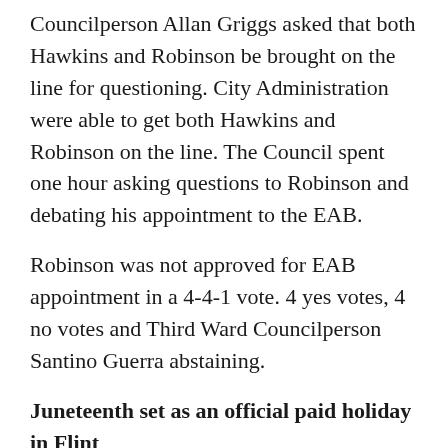Councilperson Allan Griggs asked that both Hawkins and Robinson be brought on the line for questioning. City Administration were able to get both Hawkins and Robinson on the line. The Council spent one hour asking questions to Robinson and debating his appointment to the EAB.
Robinson was not approved for EAB appointment in a 4-4-1 vote. 4 yes votes, 4 no votes and Third Ward Councilperson Santino Guerra abstaining.
Juneteenth set as an official paid holiday in Flint